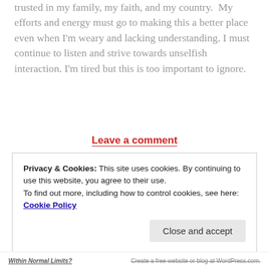trusted in my family, my faith, and my country.  My efforts and energy must go to making this a better place even when I'm weary and lacking understanding. I must continue to listen and strive towards unselfish interaction. I'm tired but this is too important to ignore.
Leave a comment
Privacy & Cookies: This site uses cookies. By continuing to use this website, you agree to their use.
To find out more, including how to control cookies, see here: Cookie Policy
Within Normal Limits?   Create a free website or blog at WordPress.com.